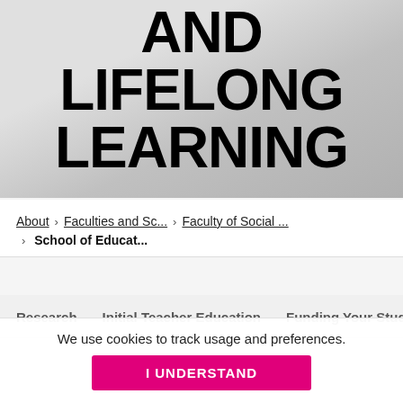[Figure (photo): Background photo of people, partially visible at top, faded/greyed out behind large title text]
AND LIFELONG LEARNING
About  >  Faculties and Sc...  >  Faculty of Social ...  >  School of Educat...
Research   Initial Teacher Education   Funding Your Studi...
We use cookies to track usage and preferences.
I UNDERSTAND